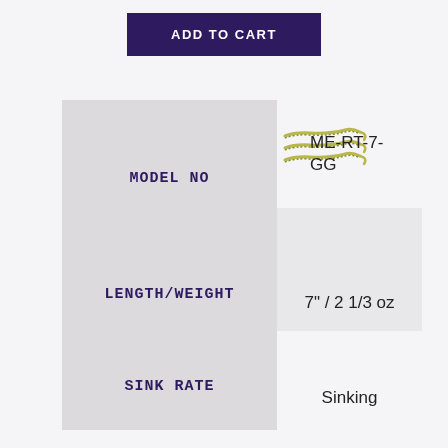[Figure (other): ADD TO CART button in dark purple/navy color]
|  |  |
| --- | --- |
| MODEL NO | ME-RT-7-GG |
| LENGTH/WEIGHT | 7" / 2 1/3 oz |
| SINK RATE | Sinking |